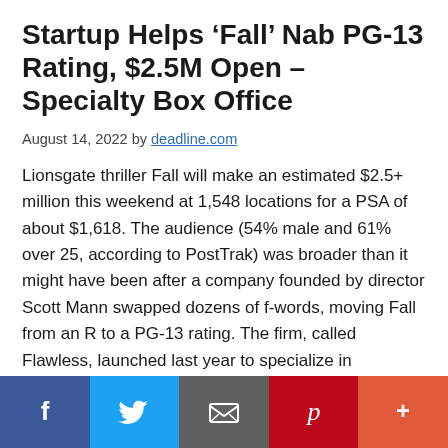Startup Helps ‘Fall’ Nab PG-13 Rating, $2.5M Open – Specialty Box Office
August 14, 2022 by deadline.com
Lionsgate thriller Fall will make an estimated $2.5+ million this weekend at 1,548 locations for a PSA of about $1,618. The audience (54% male and 61% over 25, according to PostTrak) was broader than it might have been after a company founded by director Scott Mann swapped dozens of f-words, moving Fall from an R to a PG-13 rating. The firm, called Flawless, launched last year to specialize in